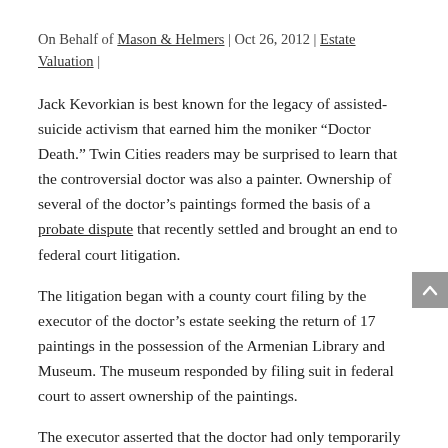On Behalf of Mason & Helmers | Oct 26, 2012 | Estate Valuation |
Jack Kevorkian is best known for the legacy of assisted-suicide activism that earned him the moniker “Doctor Death.” Twin Cities readers may be surprised to learn that the controversial doctor was also a painter. Ownership of several of the doctor’s paintings formed the basis of a probate dispute that recently settled and brought an end to federal court litigation.
The litigation began with a county court filing by the executor of the doctor’s estate seeking the return of 17 paintings in the possession of the Armenian Library and Museum. The museum responded by filing suit in federal court to assert ownership of the paintings.
The executor asserted that the doctor had only temporarily